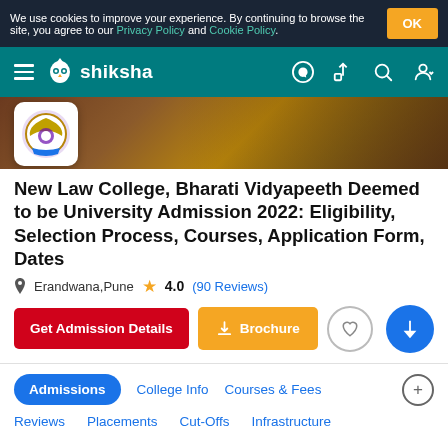We use cookies to improve your experience. By continuing to browse the site, you agree to our Privacy Policy and Cookie Policy.
[Figure (screenshot): Shiksha.com navigation bar with hamburger menu, Shiksha logo, WhatsApp icon, share icon, search icon, and user account icon on teal background]
[Figure (photo): College campus banner image with college logo badge overlaid on the left]
New Law College, Bharati Vidyapeeth Deemed to be University Admission 2022: Eligibility, Selection Process, Courses, Application Form, Dates
Erandwana, Pune   4.0 (90 Reviews)
Get Admission Details   Brochure
Admissions   College Info   Courses & Fees   Reviews   Placements   Cut-Offs   Infrastructure